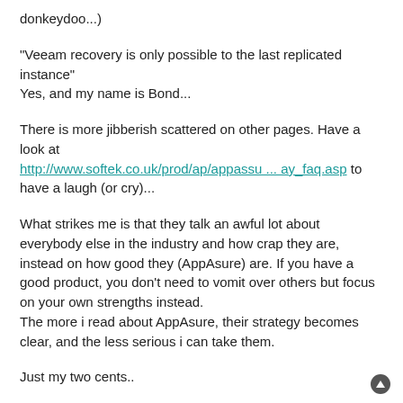donkeydoo...)
"Veeam recovery is only possible to the last replicated instance"
Yes, and my name is Bond...
There is more jibberish scattered on other pages. Have a look at http://www.softek.co.uk/prod/ap/appassu ... ay_faq.asp to have a laugh (or cry)...
What strikes me is that they talk an awful lot about everybody else in the industry and how crap they are, instead on how good they (AppAsure) are. If you have a good product, you don't need to vomit over others but focus on your own strengths instead.
The more i read about AppAsure, their strategy becomes clear, and the less serious i can take them.
Just my two cents..